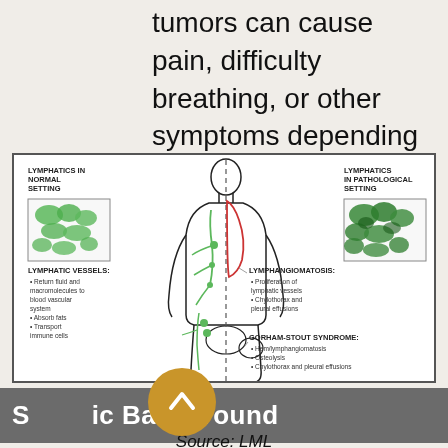tumors can cause pain, difficulty breathing, or other symptoms depending on where they are located. (PatientsLikeMe, 2017) & (Zimmerman, 2016)
[Figure (illustration): Medical diagram showing lymphatics in normal setting vs pathological setting. Left side shows lymphatic vessels with inset image of normal lymphatic tissue (green), with bullet points: Return fluid and macromolecules to blood vascular system; Absorb fats; Transport immune cells. Center shows human body outline with green lymphatic vessels and a red lung outline with dashed vertical line. Right side shows lymphatics in pathological setting with inset of abnormal tissue (darker green). Labels: Lymphangiomatosis: Proliferation of lymphatic vessels; Chylothorax and pleural effusions. Gorham-Stout Syndrome: Hem/lymphangiomatosis; Osteolysis; Chylothorax and pleural effusions.]
Scientific Background
Source: LML